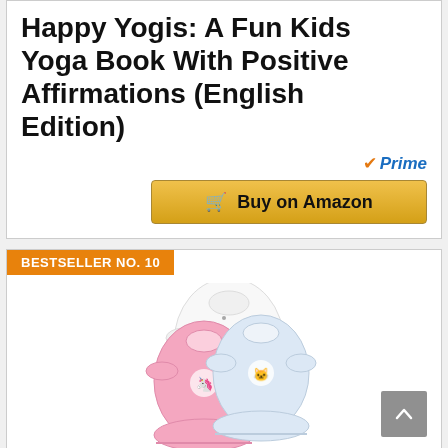Happy Yogis: A Fun Kids Yoga Book With Positive Affirmations (English Edition)
[Figure (logo): Amazon Prime badge with orange checkmark and blue italic 'Prime' text]
[Figure (infographic): Golden 'Buy on Amazon' button with shopping cart icon]
BESTSELLER NO. 10
[Figure (photo): Three baby sleep gowns: white with black dots pattern, pink rainbow/cloud design, pink unicorn, and light purple/white designs]